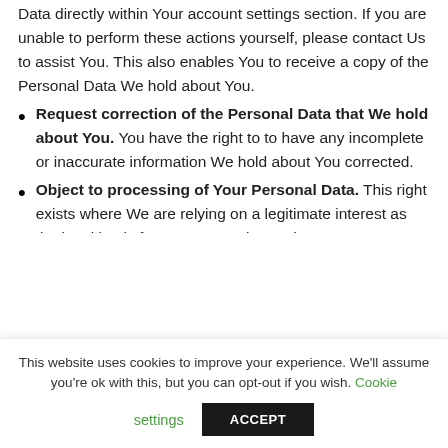Data directly within Your account settings section. If you are unable to perform these actions yourself, please contact Us to assist You. This also enables You to receive a copy of the Personal Data We hold about You.
Request correction of the Personal Data that We hold about You. You have the right to to have any incomplete or inaccurate information We hold about You corrected.
Object to processing of Your Personal Data. This right exists where We are relying on a legitimate interest as the legal basis for Our processing and...
This website uses cookies to improve your experience. We'll assume you're ok with this, but you can opt-out if you wish. Cookie settings ACCEPT